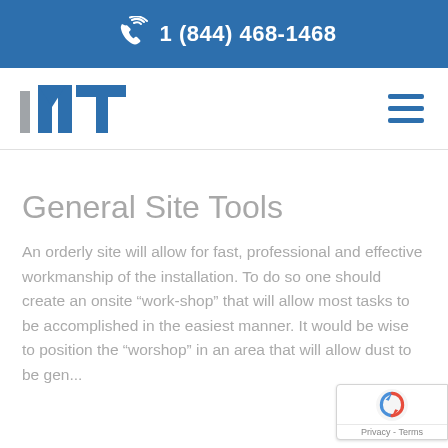1 (844) 468-1468
[Figure (logo): IMT company logo with stylized letters i, M, T in blue and gray]
General Site Tools
An orderly site will allow for fast, professional and effective workmanship of the installation. To do so one should create an onsite “work-shop” that will allow most tasks to be accomplished in the easiest manner. It would be wise to position the “work-shop” in an area that will allow dust to be gen...